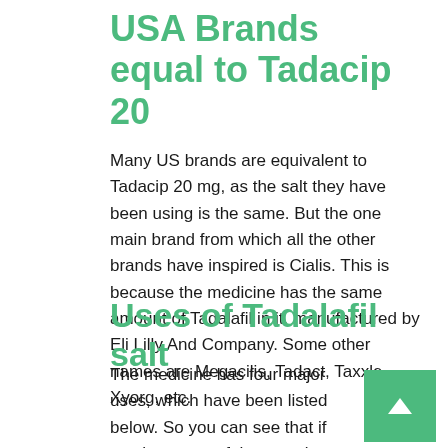USA Brands equal to Tadacip 20
Many US brands are equivalent to Tadacip 20 mg, as the salt they have been using is the same. But the one main brand from which all the other brands have inspired is Cialis. This is because the medicine has the same amount of Tadalafil in it, manufactured by Eli Lilly And Company. Some other names are Megacilis, Tadact, Taxxle, Xyorg, etc.
Uses of Tadalafil salt
The medicine has four major uses, which have been listed below. So you can see that if you have any of these major issues, you can rely on the Tadalafil salt.